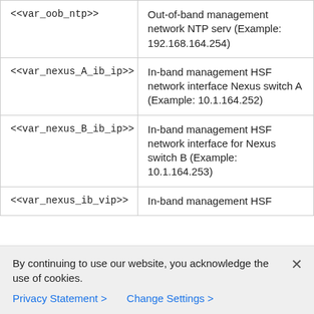| Variable | Description |
| --- | --- |
| <<var_oob_ntp>> | Out-of-band management network NTP serv (Example: 192.168.164.254) |
| <<var_nexus_A_ib_ip>> | In-band management HSF network interface Nexus switch A (Example: 10.1.164.252) |
| <<var_nexus_B_ib_ip>> | In-band management HSF network interface for Nexus switch B (Example: 10.1.164.253) |
| <<var_nexus_ib_vip>> | In-band management HSF |
By continuing to use our website, you acknowledge the use of cookies.
Privacy Statement > Change Settings >